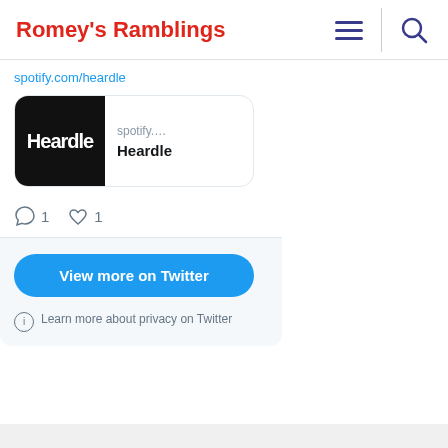Romey's Ramblings
[Figure (screenshot): Embedded tweet card showing a Spotify Heardle link preview with comment and like counts of 1 each, a 'View more on Twitter' button, and a privacy note.]